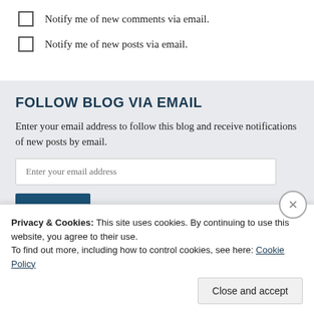Notify me of new comments via email.
Notify me of new posts via email.
FOLLOW BLOG VIA EMAIL
Enter your email address to follow this blog and receive notifications of new posts by email.
Privacy & Cookies: This site uses cookies. By continuing to use this website, you agree to their use.
To find out more, including how to control cookies, see here: Cookie Policy
Close and accept